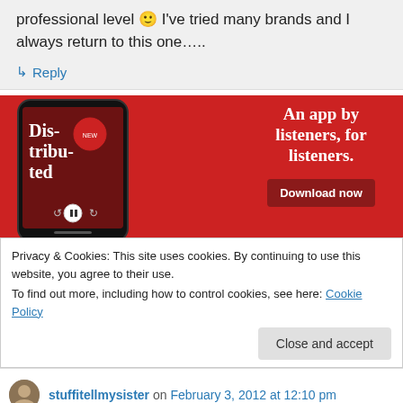professional level 🙂 I've tried many brands and I always return to this one…..
↳ Reply
[Figure (screenshot): Red advertisement banner for a podcast app showing a smartphone and text 'An app by listeners, for listeners.' with a 'Download now' button]
Privacy & Cookies: This site uses cookies. By continuing to use this website, you agree to their use.
To find out more, including how to control cookies, see here: Cookie Policy
Close and accept
stuffitellmysister on February 3, 2012 at 12:10 pm